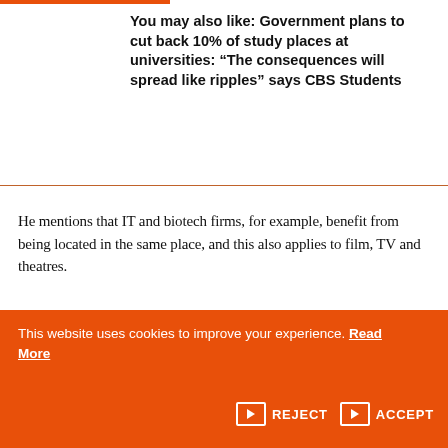You may also like: Government plans to cut back 10% of study places at universities: “The consequences will spread like ripples” says CBS Students
He mentions that IT and biotech firms, for example, benefit from being located in the same place, and this also applies to film, TV and theatres.
Higher education needs a large ‘consumer base’ of students, and job opportunities for graduates, who also
This website uses cookies to improve your experience. Read More → REJECT → ACCEPT